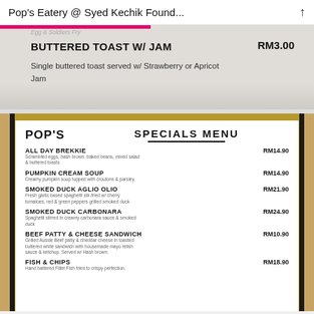Pop's Eatery @ Syed Kechik Found...
[Figure (photo): Menu page showing Buttered Toast w/ Jam item, price RM3.00, Single buttered toast served w/ Strawberry or Apricot Jam]
[Figure (photo): Pop's Specials Menu board showing: ALL DAY BREKKIE RM14.90, PUMPKIN CREAM SOUP RM14.90, SMOKED DUCK AGLIO OLIO RM21.90, SMOKED DUCK CARBONARA RM24.90, BEEF PATTY & CHEESE SANDWICH RM10.90, FISH & CHIPS RM18.90]